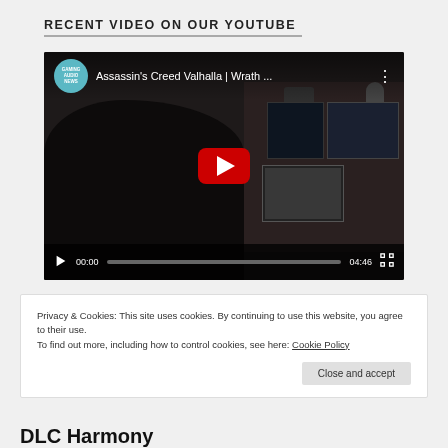RECENT VIDEO ON OUR YOUTUBE
[Figure (screenshot): YouTube video embed showing 'Assassin's Creed Valhalla | Wrath ...' by Gaming Audio News channel, with a man at a music production studio desk. Video is paused with play button visible. Controls show 00:00 / 04:46.]
Privacy & Cookies: This site uses cookies. By continuing to use this website, you agree to their use.
To find out more, including how to control cookies, see here: Cookie Policy
Close and accept
DLC Harmony